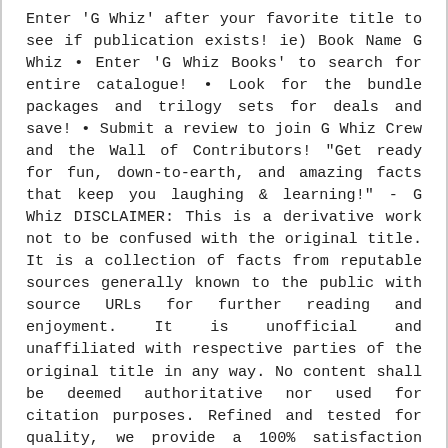Enter 'G Whiz' after your favorite title to see if publication exists! ie) Book Name G Whiz • Enter 'G Whiz Books' to search for entire catalogue! • Look for the bundle packages and trilogy sets for deals and save! • Submit a review to join G Whiz Crew and the Wall of Contributors! "Get ready for fun, down-to-earth, and amazing facts that keep you laughing & learning!" - G Whiz DISCLAIMER: This is a derivative work not to be confused with the original title. It is a collection of facts from reputable sources generally known to the public with source URLs for further reading and enjoyment. It is unofficial and unaffiliated with respective parties of the original title in any way. No content shall be deemed authoritative nor used for citation purposes. Refined and tested for quality, we provide a 100% satisfaction guarantee or your money back.